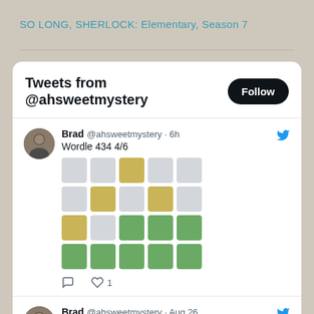SO LONG, SHERLOCK: Elementary, Season 7
Tweets from @ahsweetmystery
Brad @ahsweetmystery · 6h
Wordle 434 4/6
[Figure (infographic): Wordle 4x5 grid showing guess results: Row 1: gray, gray, yellow, gray, gray; Row 2: gray, yellow, gray, yellow, gray; Row 3: yellow, gray, green, green, green; Row 4: green, green, green, green, green]
Brad @ahsweetmystery · Aug 26
The story of my life . . .   Wordle
433 4/6